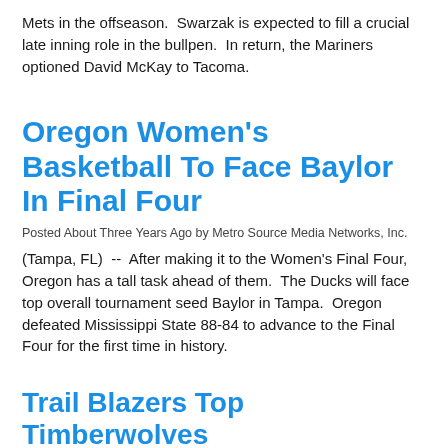Mets in the offseason.  Swarzak is expected to fill a crucial late inning role in the bullpen.  In return, the Mariners optioned David McKay to Tacoma.
Oregon Women's Basketball To Face Baylor In Final Four
Posted About Three Years Ago by Metro Source Media Networks, Inc.
(Tampa, FL)  --  After making it to the Women's Final Four, Oregon has a tall task ahead of them.  The Ducks will face top overall tournament seed Baylor in Tampa.  Oregon defeated Mississippi State 88-84 to advance to the Final Four for the first time in history.
Trail Blazers Top Timberwolves
Posted About Three Years Ago by Metro Source Media Networks, Inc.